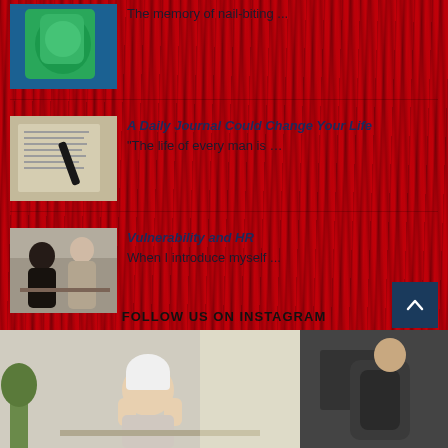The memory of nail-biting ...
[Figure (photo): Colorful sculpture or figurine on blue background]
A Daily Journal Could Change Your Life
“The life of every man is ...
[Figure (photo): Open journal/book with a pen on it]
Vulnerability and HR
When I introduce myself ...
[Figure (photo): Two people in a meeting or interview setting]
FOLLOW US ON INSTAGRAM
[Figure (photo): Person with head in hands, stressed]
[Figure (photo): Person at desk, partial view]